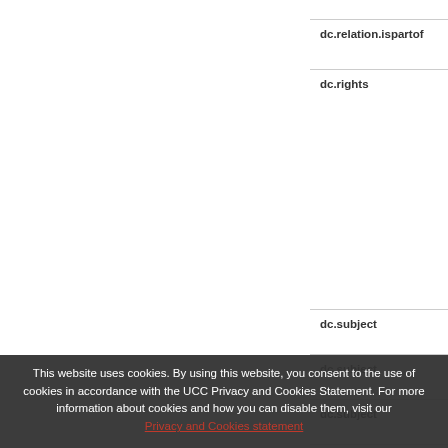| Field |
| --- |
| dc.relation.ispartof |
| dc.rights |
| dc.subject |
| dc.subject |
| dc.subject |
| dc.subject |
| dc.subject |
| dc.title |
This website uses cookies. By using this website, you consent to the use of cookies in accordance with the UCC Privacy and Cookies Statement. For more information about cookies and how you can disable them, visit our Privacy and Cookies statement